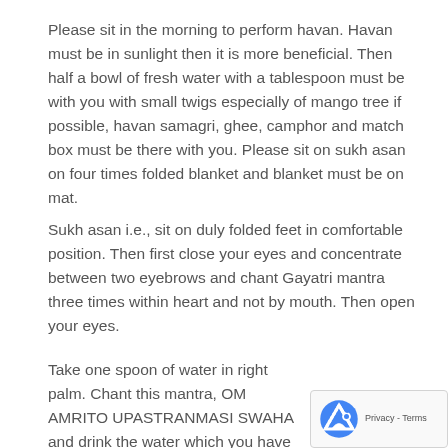Please sit in the morning to perform havan. Havan must be in sunlight then it is more beneficial. Then half a bowl of fresh water with a tablespoon must be with you with small twigs especially of mango tree if possible, havan samagri, ghee, camphor and match box must be there with you. Please sit on sukh asan on four times folded blanket and blanket must be on mat.
Sukh asan i.e., sit on duly folded feet in comfortable position. Then first close your eyes and concentrate between two eyebrows and chant Gayatri mantra three times within heart and not by mouth. Then open your eyes.
Take one spoon of water in right palm. Chant this mantra, OM AMRITO UPASTRANMASI SWAHA and drink the water which you have put in your palm. Then again take the spoon of water in right palm